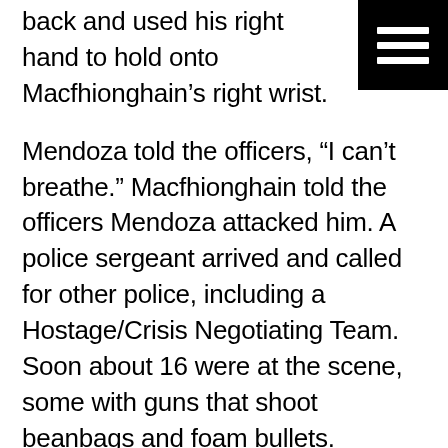back and used his right hand to hold onto Macfhionghain's right wrist.
[Figure (other): Hamburger menu icon — three white horizontal bars on black background, top-right corner]
Mendoza told the officers, “I can’t breathe.” Macfhionghain told the officers Mendoza attacked him. A police sergeant arrived and called for other police, including a Hostage/Crisis Negotiating Team. Soon about 16 were at the scene, some with guns that shoot beanbags and foam bullets.
“Drop the knife,” several repeatedly yelled. In words familiar to viewers of detective shows, a negotiator tried reasoning with the man on top, Macfhionghain: “You told me that he attacked you. I believe you. …. I don’t want to shoot you…. This can all be